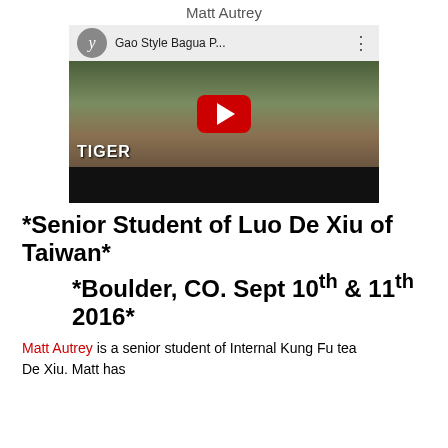Matt Autrey
[Figure (screenshot): YouTube video thumbnail showing a person practicing martial arts in a park. Title reads 'Gao Style Bagua P...' with a red play button overlay and the word TIGER in white text at the bottom left.]
*Senior Student of Luo De Xiu of Taiwan*
*Boulder, CO. Sept 10th & 11th 2016*
Matt Autrey is a senior student of Internal Kung Fu tea De Xiu. Matt has